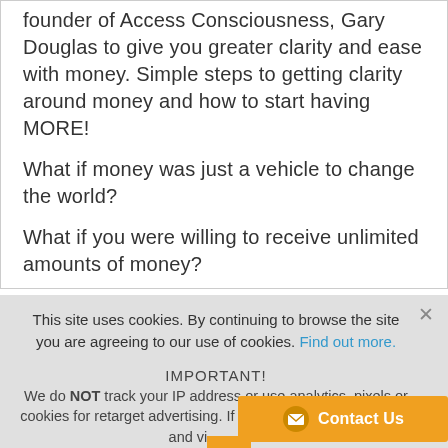founder of Access Consciousness, Gary Douglas to give you greater clarity and ease with money. Simple steps to getting clarity around money and how to start having MORE!
What if money was just a vehicle to change the world?
What if you were willing to receive unlimited amounts of money?
This site uses cookies. By continuing to browse the site you are agreeing to our use of cookies. Find out more.
IMPORTANT! We do NOT track your IP address or use analytics, pixels or cookies for retarget advertising. If you like us, just come back and visit again!